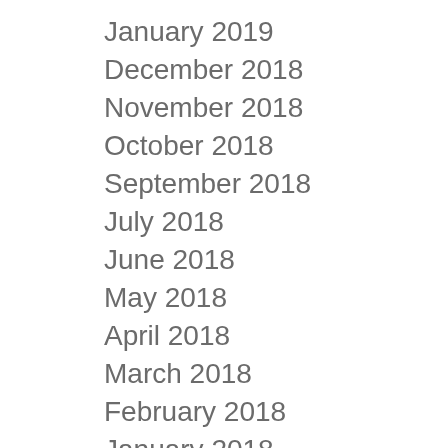January 2019
December 2018
November 2018
October 2018
September 2018
July 2018
June 2018
May 2018
April 2018
March 2018
February 2018
January 2018